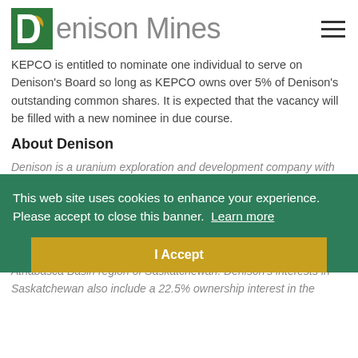[Figure (logo): Denison Mines logo with green and gold leaf icon and grey text]
KEPCO is entitled to nominate one individual to serve on Denison's Board so long as KEPCO owns over 5% of Denison's outstanding common shares. It is expected that the vacancy will be filled with a new nominee in due course.
About Denison
This web site uses cookies to enhance your experience. Please accept to close this banner.  Learn more
Denison is a uranium exploration and development company with interests in exploration, development and production assets in Canada, Zambia, Mali, Namibia and Mongolia including its 60% owned Wheeler project, which hosts the high grade Phoenix uranium deposit. Denison's interests in Saskatchewan also include a number of past producing uranium mines in the eastern Athabasca Basin region of Saskatchewan. Denison's interests in Saskatchewan also include a 22.5% ownership interest in the